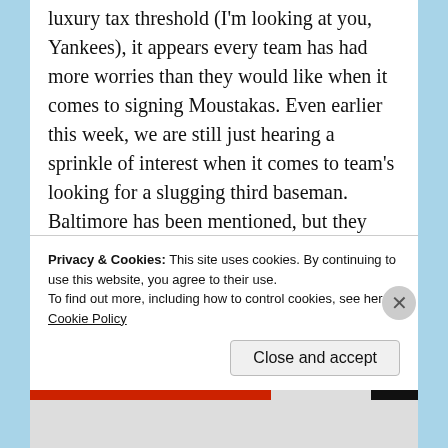luxury tax threshold (I'm looking at you, Yankees), it appears every team has had more worries than they would like when it comes to signing Moustakas. Even earlier this week, we are still just hearing a sprinkle of interest when it comes to team's looking for a slugging third baseman. Baltimore has been mentioned, but they have Manny Machado at the hot corner and Tim Beckham proved he could start at shortstop for the O's, so it's not like they have to make a move and force Machado back to shortstop. Milwaukee has been mentioned but they still have Travis Shaw, who one would think would be a slightly younger, cheaper option for the Brewers. I still contend that
Privacy & Cookies: This site uses cookies. By continuing to use this website, you agree to their use.
To find out more, including how to control cookies, see here: Cookie Policy
Close and accept